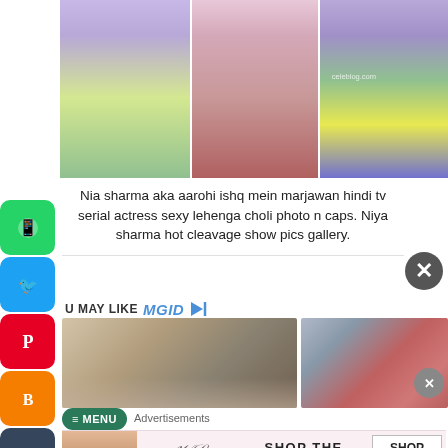[Figure (photo): Photo collage of Nia Sharma aka Aarohi in lehenga choli, three images side by side]
Nia sharma aka aarohi ishq mein marjawan hindi tv serial actress sexy lehenga choli photo n caps. Niya sharma hot cleavage show pics gallery.
YOU MAY LIKE mgid
[Figure (photo): Thumbnail of hands with coffee/scrub bowl]
[Figure (photo): Thumbnail of woman taking selfie in mirror]
Advertisements
[Figure (illustration): Victoria's Secret advertisement banner with SHOP THE COLLECTION and SHOP NOW button]